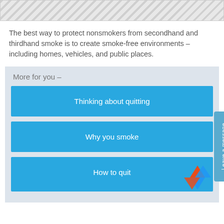[Figure (other): Diagonal hatched banner/header graphic at top of page]
The best way to protect nonsmokers from secondhand and thirdhand smoke is to create smoke-free environments – including homes, vehicles, and public places.
More for you –
Thinking about quitting
Why you smoke
How to quit